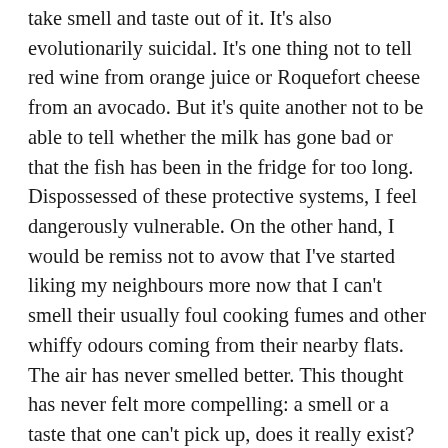take smell and taste out of it. It's also evolutionarily suicidal. It's one thing not to tell red wine from orange juice or Roquefort cheese from an avocado. But it's quite another not to be able to tell whether the milk has gone bad or that the fish has been in the fridge for too long. Dispossessed of these protective systems, I feel dangerously vulnerable. On the other hand, I would be remiss not to avow that I've started liking my neighbours more now that I can't smell their usually foul cooking fumes and other whiffy odours coming from their nearby flats. The air has never smelled better. This thought has never felt more compelling: a smell or a taste that one can't pick up, does it really exist? I secretly harbour the hope that one day we can turn our olfactory and gustative modules on and off whenever it's in our